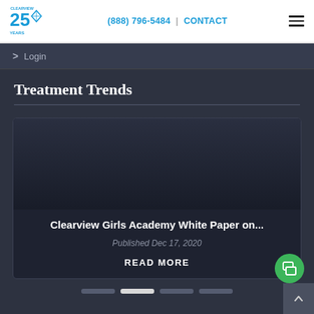(888) 796-5484  |  CONTACT
> Login
Treatment Trends
Clearview Girls Academy White Paper on...
Published Dec 17, 2020
READ MORE